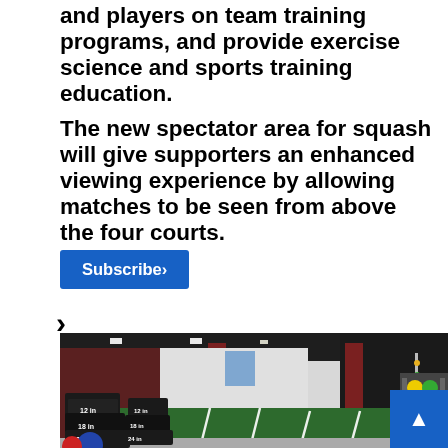and players on team training programs, and provide exercise science and sports training education.
The new spectator area for squash will give supporters an enhanced viewing experience by allowing matches to be seen from above the four courts.
Subscribe›
[Figure (photo): Interior photo of a sports training facility showing a turf sprint track, plyo boxes labeled 12in, 18in, 24in, exercise balls, a climbing wall, and weight rack equipment.]